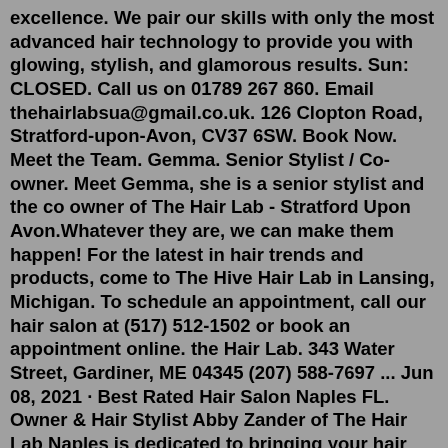excellence. We pair our skills with only the most advanced hair technology to provide you with glowing, stylish, and glamorous results. Sun: CLOSED. Call us on 01789 267 860. Email thehairlabsua@gmail.co.uk. 126 Clopton Road, Stratford-upon-Avon, CV37 6SW. Book Now. Meet the Team. Gemma. Senior Stylist / Co-owner. Meet Gemma, she is a senior stylist and the co owner of The Hair Lab - Stratford Upon Avon.Whatever they are, we can make them happen! For the latest in hair trends and products, come to The Hive Hair Lab in Lansing, Michigan. To schedule an appointment, call our hair salon at (517) 512-1502 or book an appointment online. the Hair Lab. 343 Water Street, Gardiner, ME 04345 (207) 588-7697 ... Jun 08, 2021 · Best Rated Hair Salon Naples FL. Owner & Hair Stylist Abby Zander of The Hair Lab Naples is dedicated to bringing your hair dreams to life. 239-347-5227 The LAB Hair 23 Saint Mungo Street, Bishopbriggs, G64 1QT, Scotland Book Now About The LAB Hair Instant confirmation Women only